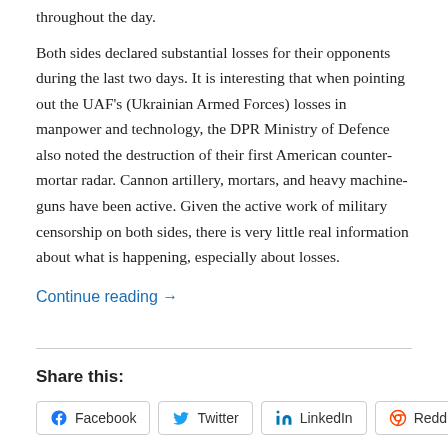throughout the day.
Both sides declared substantial losses for their opponents during the last two days. It is interesting that when pointing out the UAF's (Ukrainian Armed Forces) losses in manpower and technology, the DPR Ministry of Defence also noted the destruction of their first American counter-mortar radar. Cannon artillery, mortars, and heavy machine-guns have been active. Given the active work of military censorship on both sides, there is very little real information about what is happening, especially about losses.
Continue reading →
Share this:
Facebook  Twitter  LinkedIn  Reddit  Email